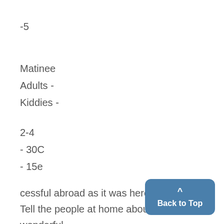-5
Matinee
Adults -
Kiddies -
2-4
- 30C
- 15e
cessful abroad as it was here.
Tell the people at home about
wonderful